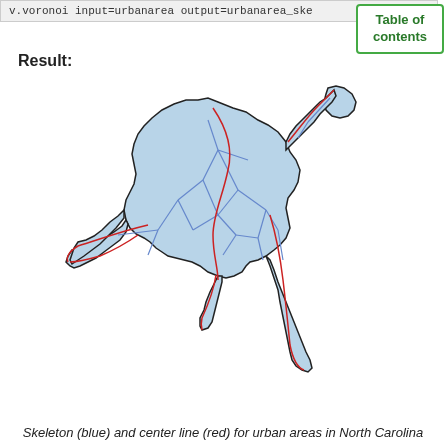v.voronoi input=urbanarea output=urbanarea_ske
Table of contents
Result:
[Figure (map): Map showing skeleton (blue lines) and center line (red lines) overlaid on urban area polygons (light blue fill with dark outline) for North Carolina urban areas. The main cluster is a large irregular polygon in the center-left, with an elongated peninsula extending to the lower right and a separate smaller cluster in the upper right.]
Skeleton (blue) and center line (red) for urban areas in North Carolina